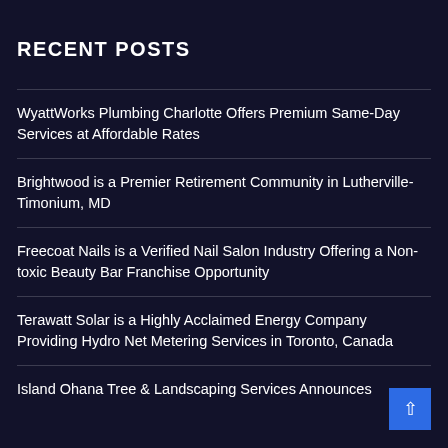RECENT POSTS
WyattWorks Plumbing Charlotte Offers Premium Same-Day Services at Affordable Rates
Brightwood is a Premier Retirement Community in Lutherville-Timonium, MD
Freecoat Nails is a Verified Nail Salon Industry Offering a Non-toxic Beauty Bar Franchise Opportunity
Terawatt Solar is a Highly Acclaimed Energy Company Providing Hydro Net Metering Services in Toronto, Canada
Island Ohana Tree & Landscaping Services Announces